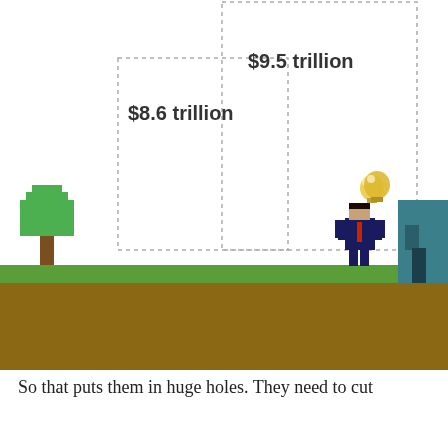[Figure (infographic): Infographic showing two dashed-border rectangular columns representing $8.6 trillion and $9.5 trillion debt holes, with pixel-art characters (two businessmen with lightbulbs above their heads) standing on a grassy ground scene, a tree on the left and a building on the right.]
So that puts them in huge holes. They need to cut